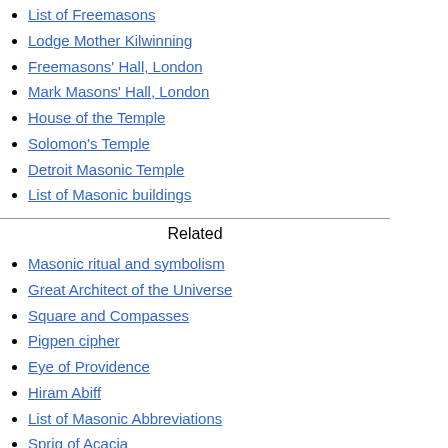List of Freemasons
Lodge Mother Kilwinning
Freemasons' Hall, London
Mark Masons' Hall, London
House of the Temple
Solomon's Temple
Detroit Masonic Temple
List of Masonic buildings
Related
Masonic ritual and symbolism
Great Architect of the Universe
Square and Compasses
Pigpen cipher
Eye of Providence
Hiram Abiff
List of Masonic Abbreviations
Sprig of Acacia
Masonic Landmarks
Pike's Morals and Dogma
Propaganda Due
Dermott's Ahiman Rezon
Volume of Sacred Law